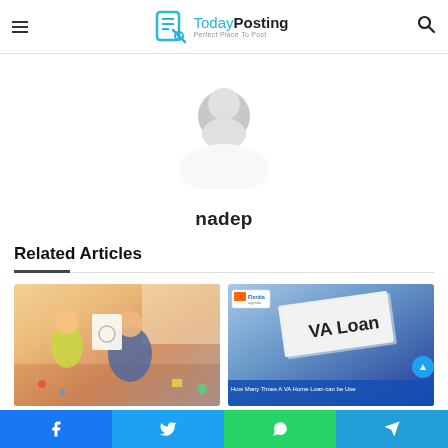TodayPosting — Perfect Place To Post
[Figure (photo): Default grey avatar/profile placeholder image — circular silhouette of a person on grey background]
nadep
Related Articles
[Figure (photo): Photo of a woman and young child playing with drawings indoors]
[Figure (photo): VA Loan torn paper sign with blue background; caption reads 'How Many Times A VA Home Loan can be Use']
Facebook | Twitter | WhatsApp | Telegram share buttons